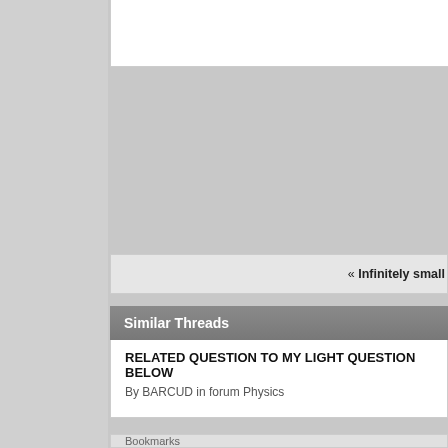« Infinitely small
Similar Threads
RELATED QUESTION TO MY LIGHT QUESTION BELOW
By BARCUD in forum Physics
Bookmarks
Digg
del.icio.us
StumbleUpon
Google